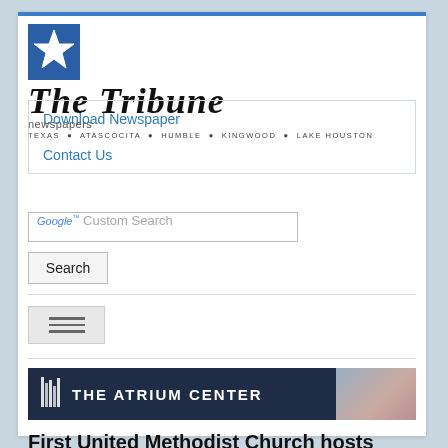[Figure (logo): The Tribune newspapers logo with blue star icon and blackletter masthead title, tagline: TEXAS ATASCOCITA HUMBLE KINGWOOD LAKE HOUSTON]
Download Newspaper
Contact Us
[Figure (screenshot): Google Custom Search input box with Search button]
[Figure (infographic): Hamburger menu button (three horizontal lines)]
[Figure (logo): The Atrium Center banner advertisement with dark navy background and decorative photo on right]
First United Methodist Church hosts Legacy Sunday